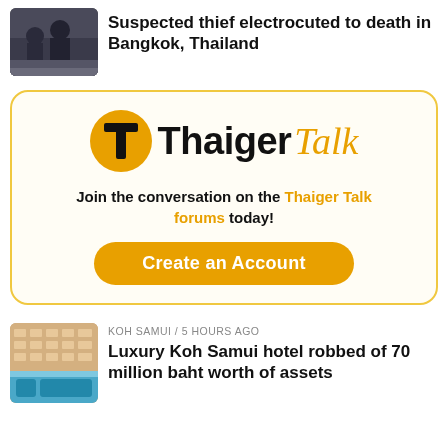[Figure (photo): Thumbnail photo of police/military personnel in tactical gear on a rooftop or ledge]
Suspected thief electrocuted to death in Bangkok, Thailand
[Figure (logo): Thaiger Talk promotional advertisement box with orange and black logo, tagline 'Join the conversation on the Thaiger Talk forums today!' and a 'Create an Account' button]
[Figure (photo): Thumbnail photo of a luxury hotel building exterior with blue pool]
KOH SAMUI / 5 hours ago
Luxury Koh Samui hotel robbed of 70 million baht worth of assets